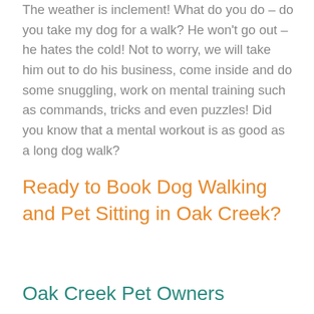The weather is inclement! What do you do – do you take my dog for a walk? He won't go out – he hates the cold! Not to worry, we will take him out to do his business, come inside and do some snuggling, work on mental training such as commands, tricks and even puzzles! Did you know that a mental workout is as good as a long dog walk?
Ready to Book Dog Walking and Pet Sitting in Oak Creek?
Oak Creek Pet Owners